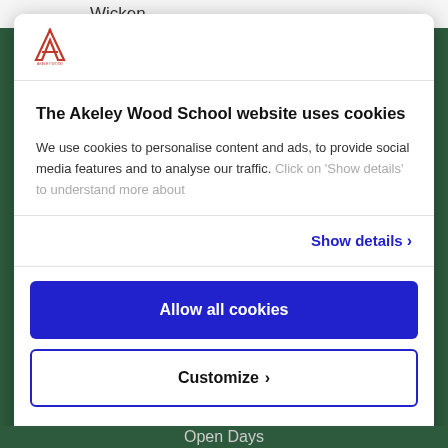Wicken
[Figure (logo): Akeley Wood School logo - stylized A shape in red/pink]
The Akeley Wood School website uses cookies
We use cookies to personalise content and ads, to provide social media features and to analyse our traffic. Click on 'Show details' to understand more about
Show details >
Allow all cookies
Customize >
Powered by Cookiebot by Usercentrics
Open Days